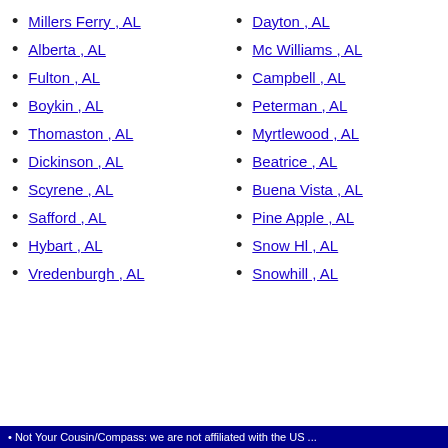Millers Ferry , AL
Alberta , AL
Fulton , AL
Boykin , AL
Thomaston , AL
Dickinson , AL
Scyrene , AL
Safford , AL
Hybart , AL
Vredenburgh , AL
Dayton , AL
Mc Williams , AL
Campbell , AL
Peterman , AL
Myrtlewood , AL
Beatrice , AL
Buena Vista , AL
Pine Apple , AL
Snow Hl , AL
Snowhill , AL
Not Your Cousin/Compass: we are not affiliated with the US ...